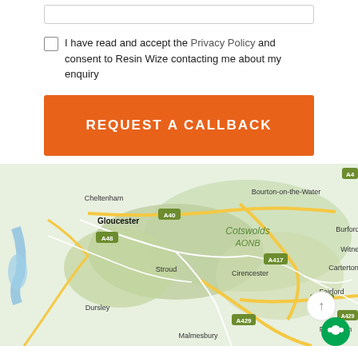I have read and accept the Privacy Policy and consent to Resin Wize contacting me about my enquiry
REQUEST A CALLBACK
[Figure (map): Google Maps view showing Gloucestershire and surrounding area including Gloucester, Cotswolds AONB, Stroud, Cirencester, Fairford, Burford, Witney, Carterton, Faringdon, Malmesbury, Dursley with road labels A40, A48, A417, A429, A419, A429, A4]